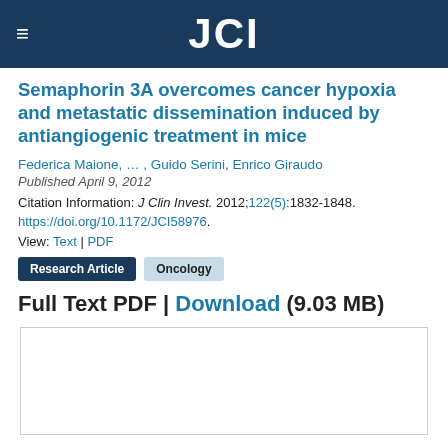JCI
Semaphorin 3A overcomes cancer hypoxia and metastatic dissemination induced by antiangiogenic treatment in mice
Federica Maione, … , Guido Serini, Enrico Giraudo
Published April 9, 2012
Citation Information: J Clin Invest. 2012;122(5):1832-1848. https://doi.org/10.1172/JCI58976.
View: Text | PDF
Research Article   Oncology
Full Text PDF | Download (9.03 MB)
[Figure (other): PDF preview box (empty white rectangle with border)]